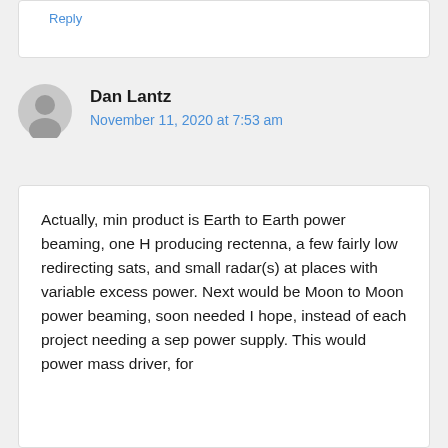Reply
Dan Lantz
November 11, 2020 at 7:53 am
Actually, min product is Earth to Earth power beaming, one H producing rectenna, a few fairly low redirecting sats, and small radar(s) at places with variable excess power. Next would be Moon to Moon power beaming, soon needed I hope, instead of each project needing a sep power supply. This would power mass driver, for